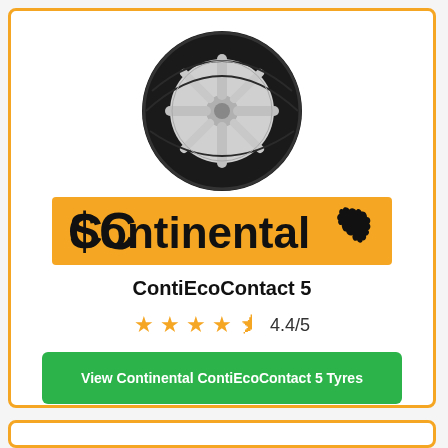[Figure (photo): Black Continental tyre (ContiEcoContact 5) shown at an angle with silver alloy wheel visible]
[Figure (logo): Continental brand logo on orange/amber background with black text and horse silhouette]
ContiEcoContact 5
4.4/5 (4.4 out of 5 stars)
View Continental ContiEcoContact 5 Tyres
Prices from £85.50